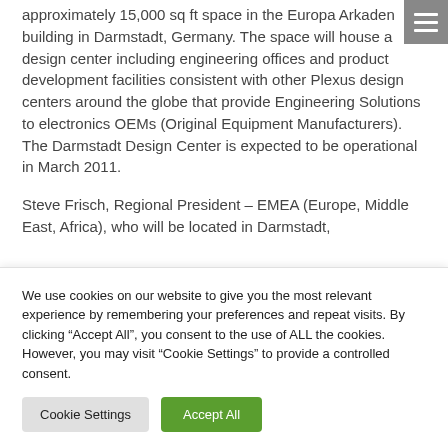approximately 15,000 sq ft space in the Europa Arkaden building in Darmstadt, Germany. The space will house a design center including engineering offices and product development facilities consistent with other Plexus design centers around the globe that provide Engineering Solutions to electronics OEMs (Original Equipment Manufacturers). The Darmstadt Design Center is expected to be operational in March 2011.
Steve Frisch, Regional President – EMEA (Europe, Middle East, Africa), who will be located in Darmstadt,
We use cookies on our website to give you the most relevant experience by remembering your preferences and repeat visits. By clicking "Accept All", you consent to the use of ALL the cookies. However, you may visit "Cookie Settings" to provide a controlled consent.